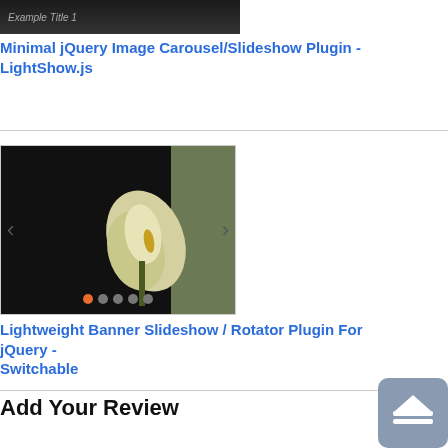[Figure (screenshot): Top of a dark-themed image carousel plugin screenshot with title text]
Minimal jQuery Image Carousel/Slideshow Plugin - LightShow.js
[Figure (screenshot): Lightweight banner slideshow carousel showing a calla lily flower with left/right navigation arrows and orange dot indicator]
Lightweight Banner Slideshow / Rotator Plugin For jQuery - Switchable
Add Your Review